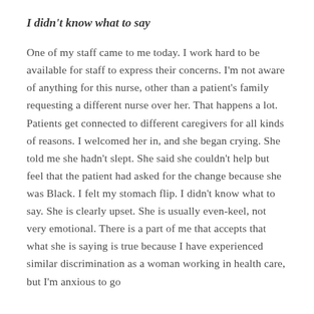I didn't know what to say
One of my staff came to me today. I work hard to be available for staff to express their concerns. I'm not aware of anything for this nurse, other than a patient's family requesting a different nurse over her. That happens a lot. Patients get connected to different caregivers for all kinds of reasons. I welcomed her in, and she began crying. She told me she hadn't slept. She said she couldn't help but feel that the patient had asked for the change because she was Black. I felt my stomach flip. I didn't know what to say. She is clearly upset. She is usually even-keel, not very emotional. There is a part of me that accepts that what she is saying is true because I have experienced similar discrimination as a woman working in health care, but I'm anxious to go